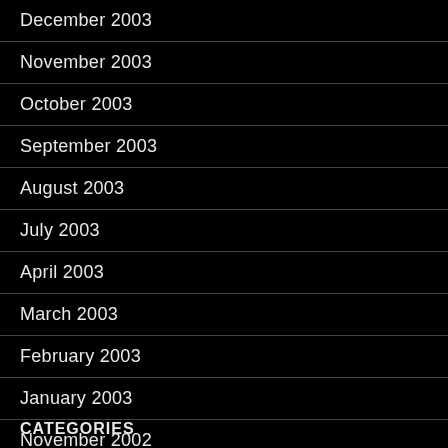December 2003
November 2003
October 2003
September 2003
August 2003
July 2003
April 2003
March 2003
February 2003
January 2003
November 2002
CATEGORIES